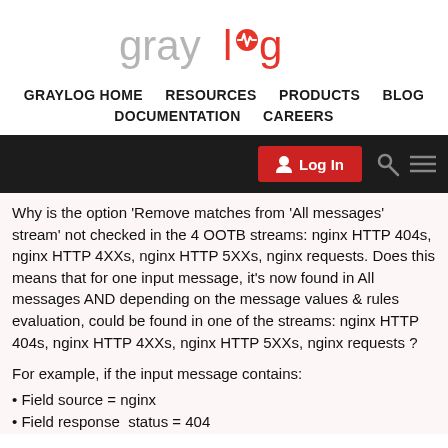[Figure (logo): Graylog logo with gray 'gray' text and red 'log' text with a heartbeat/pulse icon]
GRAYLOG HOME   RESOURCES   PRODUCTS   BLOG   DOCUMENTATION   CAREERS
[Figure (screenshot): Dark navigation bar with red Log In button, search icon, and menu icon]
Why is the option 'Remove matches from 'All messages' stream' not checked in the 4 OOTB streams: nginx HTTP 404s, nginx HTTP 4XXs, nginx HTTP 5XXs, nginx requests. Does this means that for one input message, it's now found in All messages AND depending on the message values & rules evaluation, could be found in one of the streams: nginx HTTP 404s, nginx HTTP 4XXs, nginx HTTP 5XXs, nginx requests ?
For example, if the input message contains:
Field source = nginx
Field response  status = 404